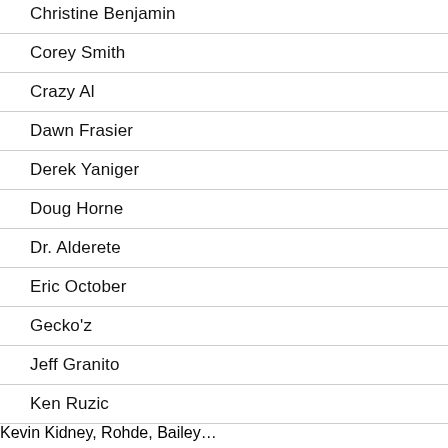Christine Benjamin
Corey Smith
Crazy Al
Dawn Frasier
Derek Yaniger
Doug Horne
Dr. Alderete
Eric October
Gecko'z
Jeff Granito
Ken Ruzic
Kevin Kidney, Rohde, Bailey…